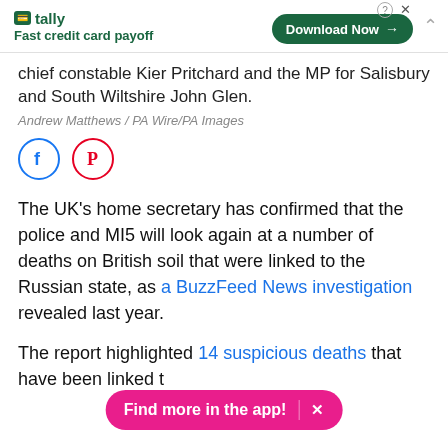[Figure (screenshot): Tally advertisement banner with logo, 'Fast credit card payoff' tagline, and 'Download Now' button]
chief constable Kier Pritchard and the MP for Salisbury and South Wiltshire John Glen.
Andrew Matthews / PA Wire/PA Images
[Figure (other): Social sharing icons: Facebook (blue circle) and Pinterest (red circle)]
The UK's home secretary has confirmed that the police and MI5 will look again at a number of deaths on British soil that were linked to the Russian state, as a BuzzFeed News investigation revealed last year.
The report highlighted 14 suspicious deaths that have been linked t
[Figure (screenshot): Pink 'Find more in the app!' banner with close button]